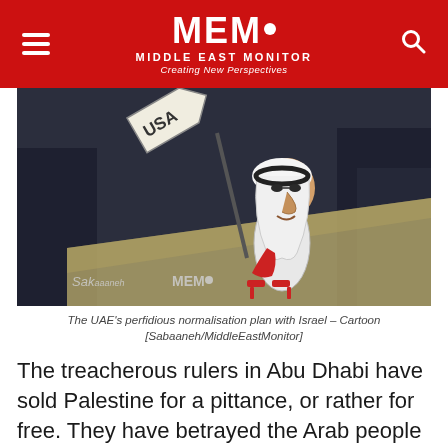MEMO MIDDLE EAST MONITOR Creating New Perspectives
[Figure (illustration): Political cartoon showing a caricature of an Arab leader in traditional white headdress and thobe, wearing red high heels and holding a red cloth, walking toward a sign pointing to 'USA'. Watermark reads 'Sakaanel MEMO'. Dark background.]
The UAE's perfidious normalisation plan with Israel – Cartoon [Sabaaneh/MiddleEastMonitor]
The treacherous rulers in Abu Dhabi have sold Palestine for a pittance, or rather for free. They have betrayed the Arab people and are